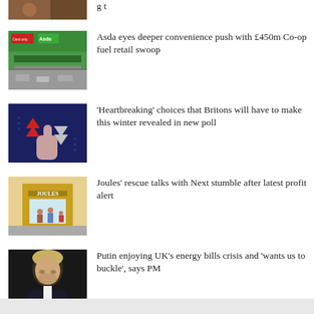[Figure (photo): Partial food/restaurant photo at top of page, cropped]
[Figure (photo): Asda petrol station with green canopy and card payment sign]
Asda eyes deeper convenience push with £450m Co-op fuel retail swoop
[Figure (photo): Dark blue background with red arrow icons pointing up and down, hand with finger pressing]
'Heartbreaking' choices that Britons will have to make this winter revealed in new poll
[Figure (photo): Joules retail store front with gold signage and shoppers inside]
Joules' rescue talks with Next stumble after latest profit alert
[Figure (photo): Boris Johnson portrait, looking down, dark background]
Putin enjoying UK's energy bills crisis and 'wants us to buckle', says PM